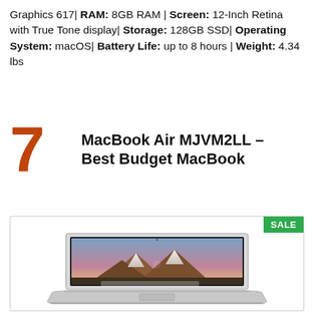Graphics 617| RAM: 8GB RAM | Screen: 12-Inch Retina with True Tone display| Storage: 128GB SSD| Operating System: macOS| Battery Life: up to 8 hours | Weight: 4.34 lbs
7 MacBook Air MJVM2LL – Best Budget MacBook
[Figure (photo): MacBook Air laptop shown open with mountain wallpaper on screen, with a SALE badge in the top right corner of the product box.]